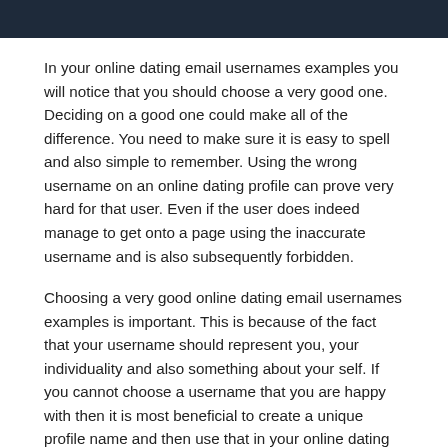In your online dating email usernames examples you will notice that you should choose a very good one. Deciding on a good one could make all of the difference. You need to make sure it is easy to spell and also simple to remember. Using the wrong username on an online dating profile can prove very hard for that user. Even if the user does indeed manage to get onto a page using the inaccurate username and is also subsequently forbidden.
Choosing a very good online dating email usernames examples is important. This is because of the fact that your username should represent you, your individuality and also something about your self. If you cannot choose a username that you are happy with then it is most beneficial to create a unique profile name and then use that in your online dating sites profile names. You do not want to put a picture in the online dating dating profiles, but rather use your photo or if